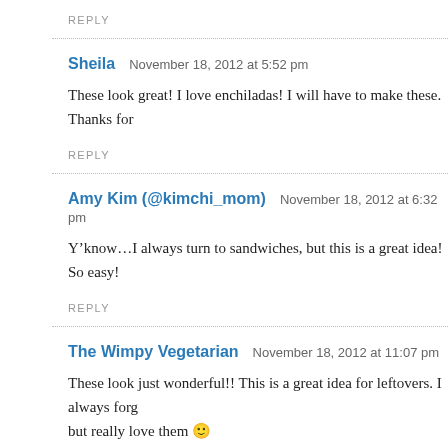REPLY
Sheila  November 18, 2012 at 5:52 pm
These look great! I love enchiladas! I will have to make these. Thanks for
REPLY
Amy Kim (@kimchi_mom)  November 18, 2012 at 6:32 pm
Y’know…I always turn to sandwiches, but this is a great idea! So easy!
REPLY
The Wimpy Vegetarian  November 18, 2012 at 11:07 pm
These look just wonderful!! This is a great idea for leftovers. I always forg but really love them 🙂